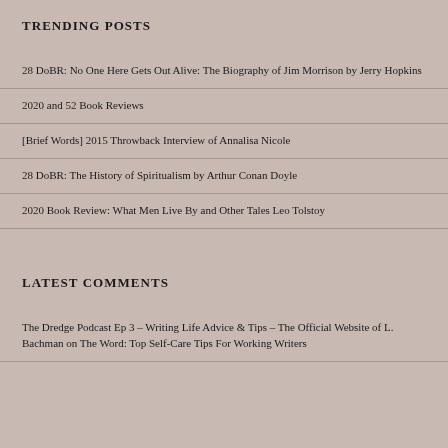TRENDING POSTS
28 DoBR: No One Here Gets Out Alive: The Biography of Jim Morrison by Jerry Hopkins
2020 and 52 Book Reviews
[Brief Words] 2015 Throwback Interview of Annalisa Nicole
28 DoBR: The History of Spiritualism by Arthur Conan Doyle
2020 Book Review: What Men Live By and Other Tales Leo Tolstoy
LATEST COMMENTS
The Dredge Podcast Ep 3 – Writing Life Advice & Tips – The Official Website of L. Bachman on The Word: Top Self-Care Tips For Working Writers